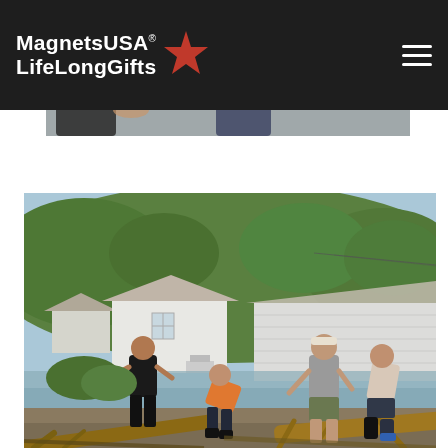MagnetsUSA LifeLongGifts logo and navigation
[Figure (photo): Partial photo of people visible at top, cropped — appears to show figures in casual clothing]
[Figure (photo): Flood cleanup scene: several people clearing fallen trees and debris outside a flooded residential area with white houses and green tree-covered hills in the background. Water is visible on the ground. People are moving large logs.]